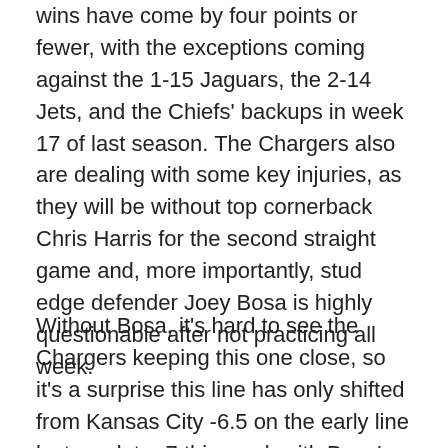wins have come by four points or fewer, with the exceptions coming against the 1-15 Jaguars, the 2-14 Jets, and the Chiefs' backups in week 17 of last season. The Chargers also are dealing with some key injuries, as they will be without top cornerback Chris Harris for the second straight game and, more importantly, stud edge defender Joey Bosa is highly questionable after not practicing all week.
Without Bosa, it's hard to see the Chargers keeping this one close, so it's a surprise this line has only shifted from Kansas City -6.5 on the early line last week to -7 this week with Bosa's status highly uncertain. It's possible this line could skyrocket if Bosa is ruled out, but if not, I will likely be placing a bet on the Chiefs. I'm not locking any bets in until I know Bosa's status, but the Chiefs are likely to be